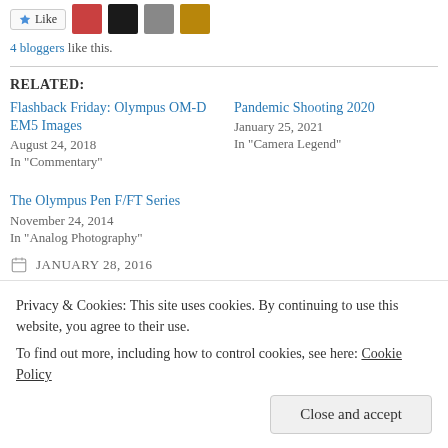Like [button with avatars]
4 bloggers like this.
RELATED:
Flashback Friday: Olympus OM-D EM5 Images
August 24, 2018
In "Commentary"
Pandemic Shooting 2020
January 25, 2021
In "Camera Legend"
The Olympus Pen F/FT Series
November 24, 2014
In "Analog Photography"
JANUARY 28, 2016
SAM
Privacy & Cookies: This site uses cookies. By continuing to use this website, you agree to their use.
To find out more, including how to control cookies, see here: Cookie Policy
Close and accept
10 COMMENTS